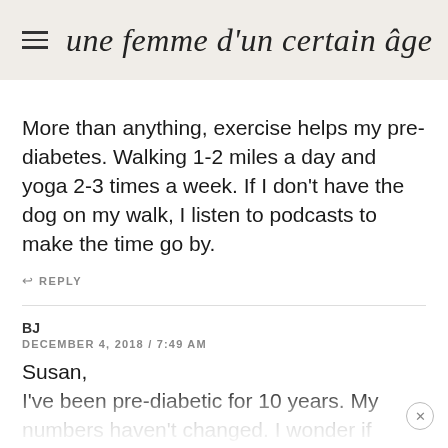une femme d'un certain âge
More than anything, exercise helps my pre-diabetes. Walking 1-2 miles a day and yoga 2-3 times a week. If I don't have the dog on my walk, I listen to podcasts to make the time go by.
↩ REPLY
BJ
DECEMBER 4, 2018 / 7:49 AM
Susan,
I've been pre-diabetic for 10 years. My numbers haven't changed. I wonder if being older often ups one's numbers and staying the course with a healthy diet is the best thing to do. My Doctor isn't worried that I'll become diabetic anytime